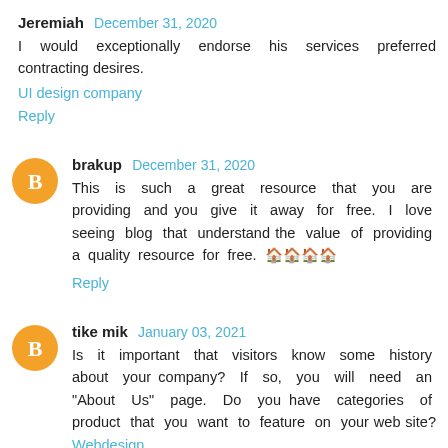Jeremiah December 31, 2020
I would exceptionally endorse his services preferred contracting desires.
UI design company
Reply
brakup December 31, 2020
This is such a great resource that you are providing and you give it away for free. I love seeing blog that understand the value of providing a quality resource for free. 🏠🏠🏠🏠
Reply
tike mik January 03, 2021
Is it important that visitors know some history about your company? If so, you will need an "About Us" page. Do you have categories of product that you want to feature on your web site? Webdesign